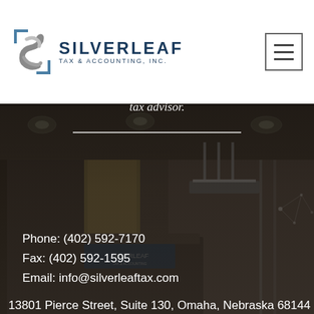[Figure (logo): Silverleaf Tax & Accounting, Inc. logo with stylized S letter mark in silver/steel color and company name in dark navy blue]
Contact Us
Don't hesitate to get in touch with us. We would love the opportunity to become your trusted tax advisor.
[Figure (photo): Office interior background photograph showing modern reception/lobby area with dark wood paneling, recessed lighting, and Silverleaf branding visible]
Phone: (402) 592-7170
Fax: (402) 592-1595
Email: info@silverleaftax.com
13801 Pierce Street, Suite 130, Omaha, Nebraska 68144